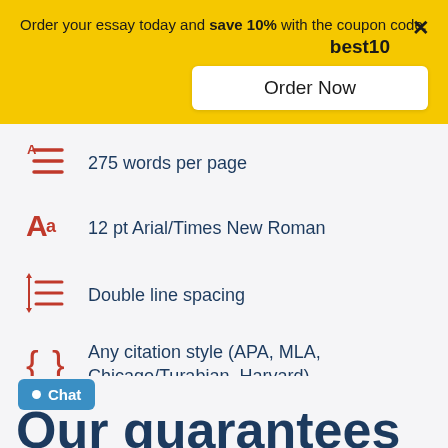Order your essay today and save 10% with the coupon code: best10
Order Now
275 words per page
12 pt Arial/Times New Roman
Double line spacing
Any citation style (APA, MLA, Chicago/Turabian, Harvard)
Chat
Our guarantees